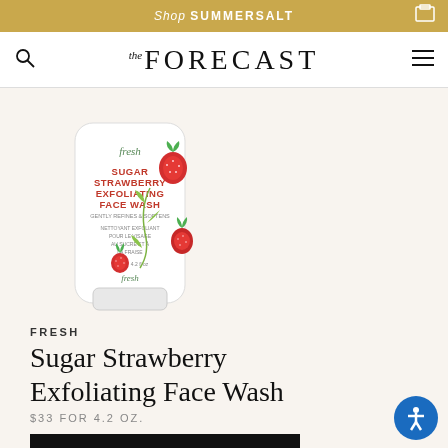Shop SUMMERSALT
the FORECAST
[Figure (photo): Fresh Sugar Strawberry Exfoliating Face Wash product tube with strawberry and floral design on white/cream background]
FRESH
Sugar Strawberry Exfoliating Face Wash
$33 FOR 4.2 OZ.
SHOP NOW